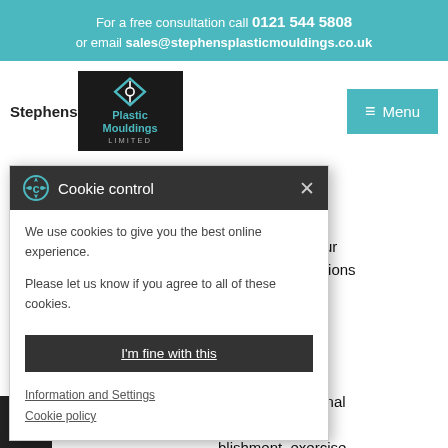For a free consultation call 0121 544 5808 or email sales@stephensplasticmouldings.co.uk
[Figure (logo): Stephens Plastic Mouldings Limited logo — black square with teal diamond shape and company name]
[Figure (screenshot): Menu button in teal]
the purpose of communicating with you and record-keeping. The legal basis for this ... mate interests, ministration of our and communications
[Figure (screenshot): Cookie control popup overlay with options: We use cookies to give you the best online experience. Please let us know if you agree to all of these cookies. Button: I'm fine with this. Links: Information and Settings, Cookie policy]
ny of your personal policy where blishment, exercise ims, whether in court dministrative or out-of-court procedure. The legal basis for this